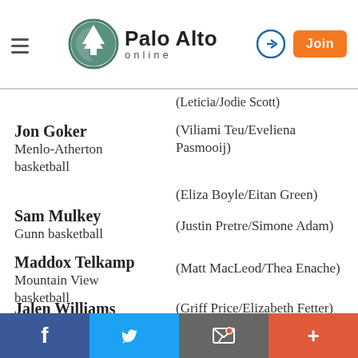Palo Alto online
(Leticia/Jodie Scott)
Jon Goker
Menlo-Atherton basketball
(Viliami Teu/Eveliena Pasmooij)
Sam Mulkey
Gunn basketball
(Eliza Boyle/Eitan Green)
Maddox Telkamp
Mountain View basketball
(Justin Pretre/Simone Adam)
Jalen Williams
Menlo-Atherton basketball
(Matt MacLeod/Thea Enache)
(Griff Price/Elizabeth Fetter)
Facebook | Twitter | Email | More